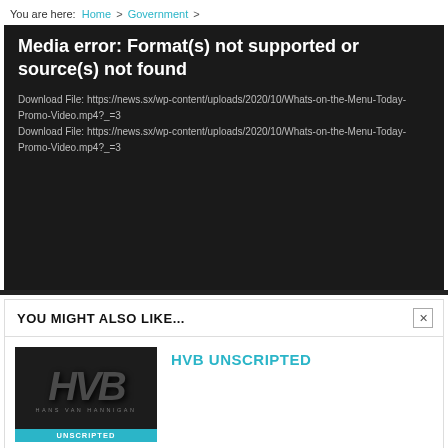You are here: Home > Government >
[Figure (screenshot): Black media error player box showing error text: 'Media error: Format(s) not supported or source(s) not found' with two download file links to https://news.sx/wp-content/uploads/2020/10/Whats-on-the-Menu-Today-Promo-Video.mp4?_=3]
YOU MIGHT ALSO LIKE...
[Figure (screenshot): Thumbnail image of HVB Unscripted logo - dark background with HVB text in gray metallic style and UNSCRIPTED text in teal bar at bottom]
HVB UNSCRIPTED